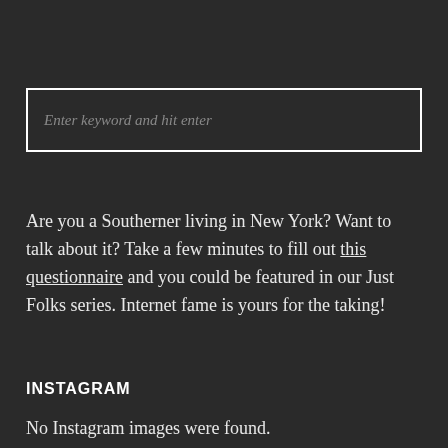Enter keyword and hit enter
Are you a Southerner living in New York? Want to talk about it? Take a few minutes to fill out this questionnaire and you could be featured in our Just Folks series. Internet fame is yours for the taking!
INSTAGRAM
No Instagram images were found.